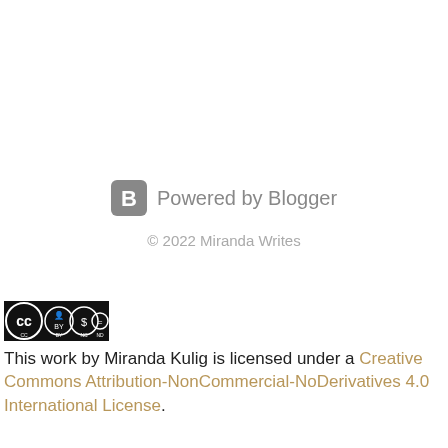[Figure (logo): Blogger logo icon — rounded square with letter B]
Powered by Blogger
© 2022 Miranda Writes
[Figure (logo): Creative Commons license badge showing CC BY NC ND icons]
This work by Miranda Kulig is licensed under a Creative Commons Attribution-NonCommercial-NoDerivatives 4.0 International License.